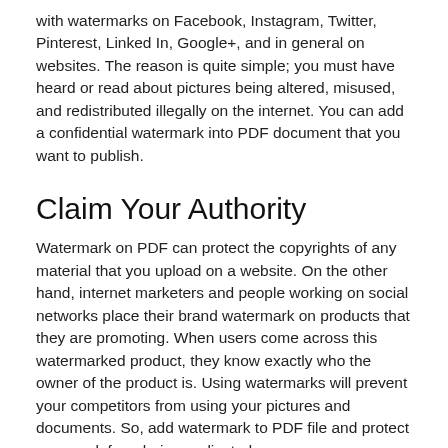with watermarks on Facebook, Instagram, Twitter, Pinterest, Linked In, Google+, and in general on websites. The reason is quite simple; you must have heard or read about pictures being altered, misused, and redistributed illegally on the internet. You can add a confidential watermark into PDF document that you want to publish.
Claim Your Authority
Watermark on PDF can protect the copyrights of any material that you upload on a website. On the other hand, internet marketers and people working on social networks place their brand watermark on products that they are promoting. When users come across this watermarked product, they know exactly who the owner of the product is. Using watermarks will prevent your competitors from using your pictures and documents. So, add watermark to PDF file and protect your work from being replicated.
Protection Against Tampering
A digital watermark cannot be erased and removed if you have used a branded watermark tool. Once you add watermark to